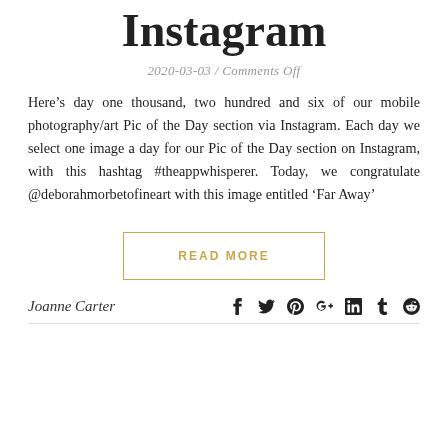Instagram
2020-03-03 / Comments Off
Here’s day one thousand, two hundred and six of our mobile photography/art Pic of the Day section via Instagram. Each day we select one image a day for our Pic of the Day section on Instagram, with this hashtag #theappwhisperer. Today, we congratulate @deborahmorbetofineart with this image entitled ‘Far Away’
READ MORE
Joanne Carter